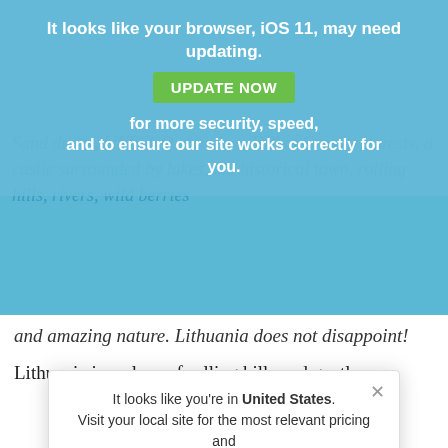Lithuania tours
It looks like your browser, iOS 11, may need updating. UPDATE NOW for more security, speed, and to ensure our site works correctly for you.
Sand dunes, UNESCO churches, Hill of Crosses, forests, a castle surrounded by lakes, old historical town, rolling hills, rivers, wild berries and amazing nature. Lithuania does not disappoint!
Lithuania is a place of rolling hills and gentle
It looks like you're in United States. Visit your local site for the most relevant pricing and information.
Switch to United States